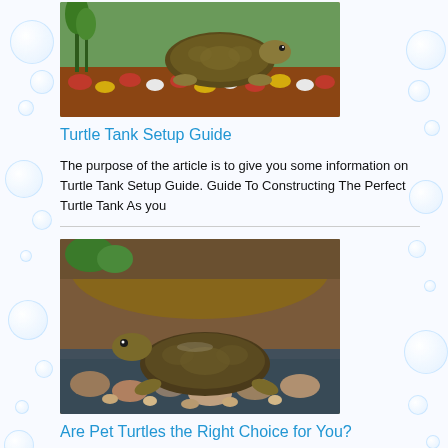[Figure (photo): Photo of a turtle in an aquarium tank with colorful gravel substrate and aquatic plants]
Turtle Tank Setup Guide
The purpose of the article is to give you some information on Turtle Tank Setup Guide. Guide To Constructing The Perfect Turtle Tank As you
[Figure (photo): Photo of a turtle resting on rocks in an aquarium with stones and a rocky background]
Are Pet Turtles the Right Choice for You?
The article concerns the following question – Are Pet Turtles...